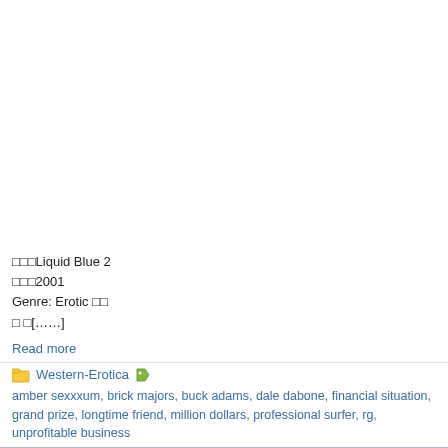□□□Liquid Blue 2
□□□2001
Genre: Erotic □□
□ □[……]
Read more
Western-Erotica
amber sexxxum, brick majors, buck adams, dale dabone, financial situation, grand prize, longtime friend, million dollars, professional surfer, rg, unprofitable business